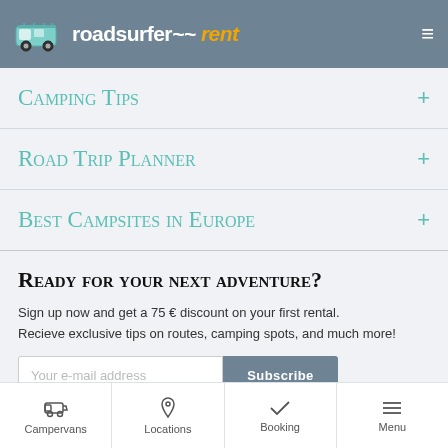roadsurfer rent
Camping Tips
Road Trip Planner
Best Campsites in Europe
Ready for your next adventure?
Sign up now and get a 75 € discount on your first rental. Recieve exclusive tips on routes, camping spots, and much more!
Your e-mail address
Campervans  Locations  Booking  Menu